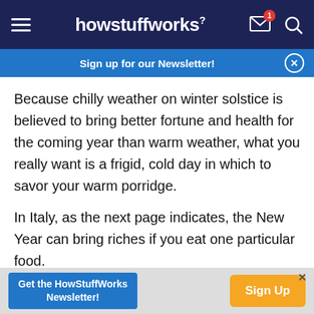howstuffworks
Sign up for our Newsletter!
Because chilly weather on winter solstice is believed to bring better fortune and health for the coming year than warm weather, what you really want is a frigid, cold day in which to savor your warm porridge.
In Italy, as the next page indicates, the New Year can bring riches if you eat one particular food.
5. New Year's Day in Italy
[Figure (photo): Partial view of an image at the bottom of the content area, cropped.]